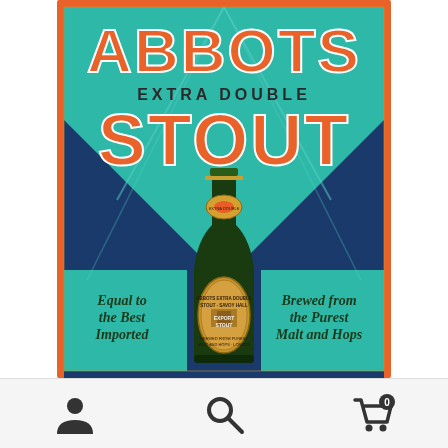[Figure (illustration): Vintage advertisement poster for Abbots Extra Double Stout beer. Teal/turquoise background with orange border. Large orange text reads ABBOTS at top, EXTRA DOUBLE in smaller letters beneath, then STOUT. A dark green beer bottle is centered on a dark navy blue triangular/chevron background. The bottle has a gold oval label reading ABBOTS EXTRA DOUBLE STOUT EXPORT STOUT. Bottom left italic text: Equal to the Best Imported. Bottom right italic text: Brewed from the Purest Malt and Hops.]
[Figure (infographic): Bottom navigation bar with three icons: person/user icon on the left, magnifying glass/search icon in the center, shopping cart icon with a badge showing 0 on the right.]